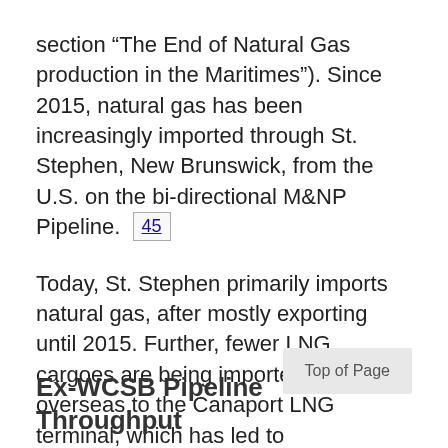section “The End of Natural Gas production in the Maritimes”). Since 2015, natural gas has been increasingly imported through St. Stephen, New Brunswick, from the U.S. on the bi-directional M&NP Pipeline. [45] Today, St. Stephen primarily imports natural gas, after mostly exporting until 2015. Further, fewer LNG cargoes are being imported from overseas to the Canaport LNG terminal, which has led to underutilization of the Brunswick Pipeline.
Ex-WCSB Pipeline Throughput